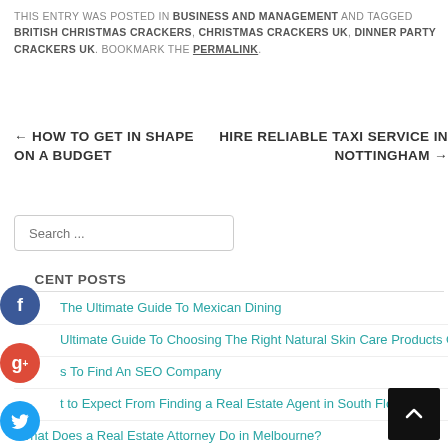THIS ENTRY WAS POSTED IN BUSINESS AND MANAGEMENT AND TAGGED BRITISH CHRISTMAS CRACKERS, CHRISTMAS CRACKERS UK, DINNER PARTY CRACKERS UK. BOOKMARK THE PERMALINK.
← HOW TO GET IN SHAPE ON A BUDGET
HIRE RELIABLE TAXI SERVICE IN NOTTINGHAM →
Search ...
RECENT POSTS
The Ultimate Guide To Mexican Dining
Ultimate Guide To Choosing The Right Natural Skin Care Products Online
s To Find An SEO Company
t to Expect From Finding a Real Estate Agent in South Florida
What Does a Real Estate Attorney Do in Melbourne?